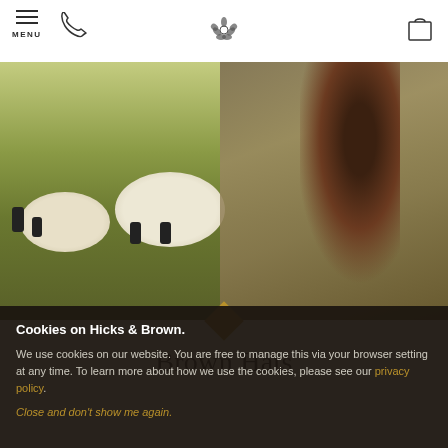MENU [hamburger icon] [phone icon] [logo] [cart icon]
[Figure (photo): A woman with long brown hair wearing an olive/khaki jacket standing in a field with sheep grazing in the blurred background. Outdoor countryside setting.]
Brown Hats
Cookies on Hicks & Brown.
We use cookies on our website. You are free to manage this via your browser setting at any time. To learn more about how we use the cookies, please see our privacy policy.
Close and don't show me again.